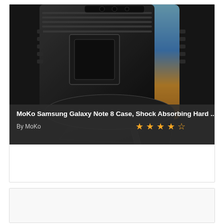[Figure (photo): Product photo of a black MoKo Samsung Galaxy Note 8 case with shock absorbing hard shell, showing the phone in the case from the back with a kickstand extended at the bottom.]
MoKo Samsung Galaxy Note 8 Case, Shock Absorbing Hard ...
By MoKo
★★★★☆ (4 out of 5 stars)
[Figure (photo): Partially visible second product card below the first.]